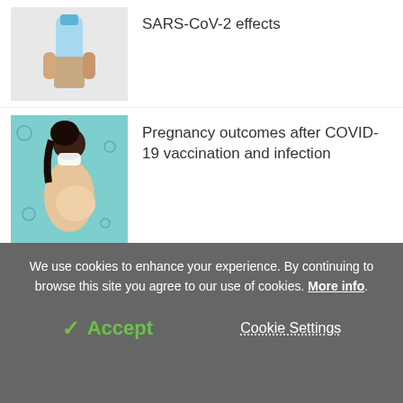[Figure (photo): Hand holding a small vial of blue liquid, partial crop at top]
SARS-CoV-2 effects
[Figure (photo): Illustration of a pregnant Black woman wearing a face mask against a teal background with coronavirus particles]
Pregnancy outcomes after COVID-19 vaccination and infection
[Figure (photo): Microscopic image of SARS-CoV-2 virus particles in red/crimson colors]
SARS-CoV-2 variants of concern emerging from chronic COVID infections, study shows
We use cookies to enhance your experience. By continuing to browse this site you agree to our use of cookies. More info.
✓ Accept
Cookie Settings